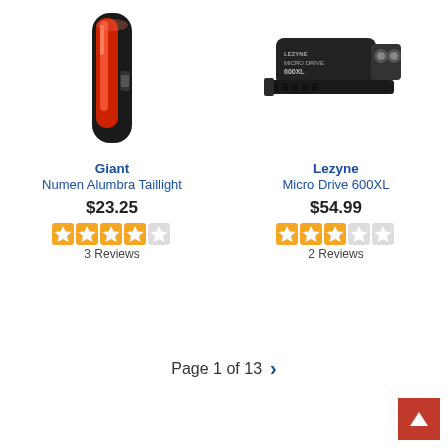[Figure (photo): Giant Numen Alumbra Taillight - red and black bicycle tail light]
Giant
Numen Alumbra Taillight
$23.25
3 Reviews
[Figure (photo): Lezyne Micro Drive 600XL - black bicycle front light with mounting bracket]
Lezyne
Micro Drive 600XL
$54.99
2 Reviews
Page 1 of 13 >